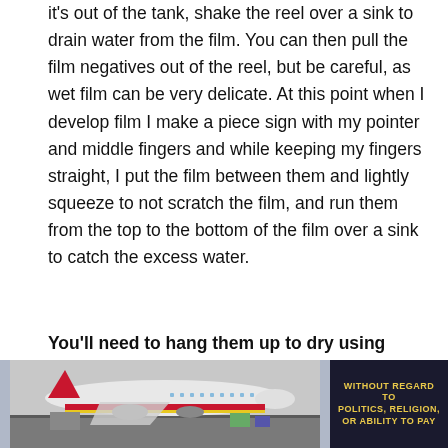it's out of the tank, shake the reel over a sink to drain water from the film. You can then pull the film negatives out of the reel, but be careful, as wet film can be very delicate. At this point when I develop film I make a piece sign with my pointer and middle fingers and while keeping my fingers straight, I put the film between them and lightly squeeze to not scratch the film, and run them from the top to the bottom of the film over a sink to catch the excess water.
You'll need to hang them up to dry using clothespins or paperclips, and you want to avoid doing so in any area where they're likely to be disturbed or go through temperature fluctuations. I suggest over a
[Figure (photo): Advertisement banner showing a cargo airplane (Southwest Airlines livery) being loaded, with text 'WITHOUT REGARD TO POLITICS, RELIGION, OR ABILITY TO PAY' on dark background to the right.]